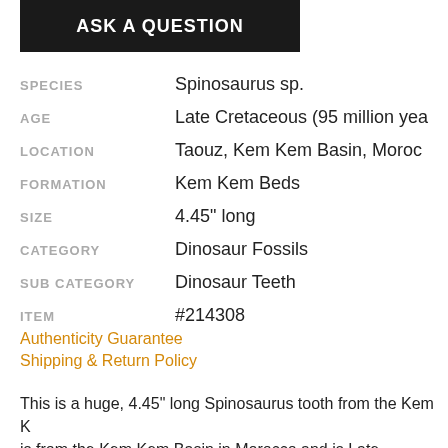[Figure (other): Dark button with text ASK A QUESTION]
| SPECIES | Spinosaurus sp. |
| AGE | Late Cretaceous (95 million yea... |
| LOCATION | Taouz, Kem Kem Basin, Moroc... |
| FORMATION | Kem Kem Beds |
| SIZE | 4.45" long |
| CATEGORY | Dinosaur Fossils |
| SUB CATEGORY | Dinosaur Teeth |
| ITEM | #214308 |
Authenticity Guarantee
Shipping & Return Policy
This is a huge, 4.45" long Spinosaurus tooth from the Kem K... is from the Kem Kem Basin in Morocco and is Late Cretaceo...